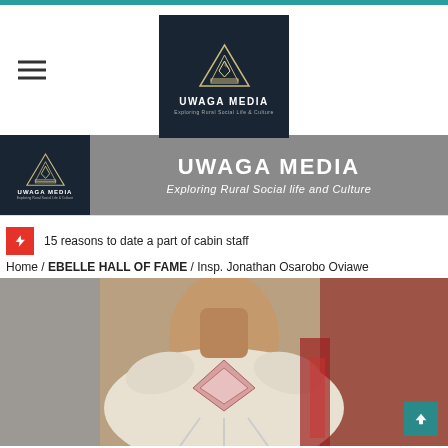UWAGA MEDIA — Exploring Rural Social Life & Culture
[Figure (logo): Uwaga Media logo: dark navy background with pyramid/triangle graphic, text UWAGA MEDIA and tagline Exploring Rural Social life and Culture]
[Figure (logo): Uwaga Media banner: small logo on left dark panel, large white bold text UWAGA MEDIA on grey background, italic subtitle Exploring Rural Social life and Culture]
15 reasons to date a part of cabin staff
Home / EBELLE HALL OF FAME / Insp. Jonathan Osarobo Oviawe
[Figure (photo): Elderly man wearing traditional ceremonial white and red attire with decorative chest piece, photographed from neck/chest area up]